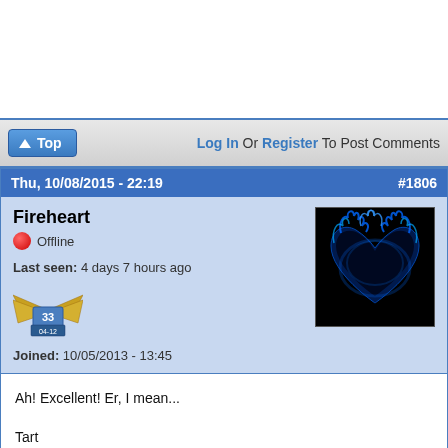(white area - top of page)
Top | Log In Or Register To Post Comments
Thu, 10/08/2015 - 22:19   #1806
Fireheart
Offline
Last seen: 4 days 7 hours ago
Joined: 10/05/2013 - 13:45
[Figure (photo): Blue flaming heart avatar image on black background]
Ah! Excellent! Er, I mean...

Tart

Be Well!
Fireheart